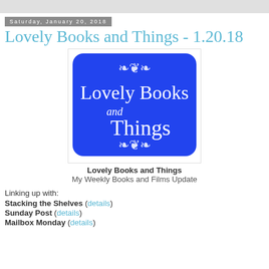Saturday, January 20, 2018
Lovely Books and Things - 1.20.18
[Figure (logo): Blue rounded rectangle logo with white decorative scrollwork and text reading 'Lovely Books and Things']
Lovely Books and Things
My Weekly Books and Films Update
Linking up with:
Stacking the Shelves (details)
Sunday Post (details)
Mailbox Monday (details)